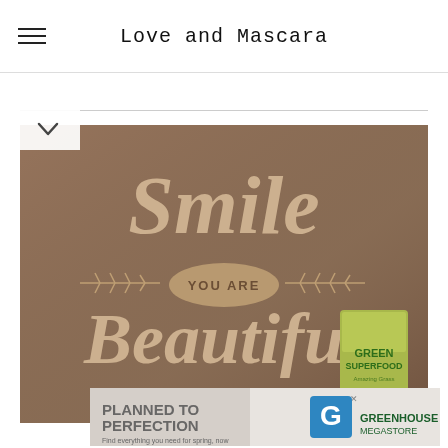Love and Mascara
[Figure (photo): Open cardboard box lid showing text 'Smile YOU ARE Beautiful' with botanical decorative elements, watermarked @lovemascara. A green superfood packet is visible in bottom right corner.]
[Figure (photo): Advertisement banner for Greenhouse Megastore: 'PLANNED TO PERFECTION - Find everything you need for spring, now' with green logo.]